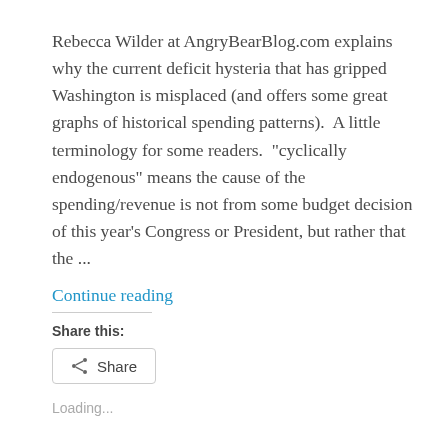Rebecca Wilder at AngryBearBlog.com explains why the current deficit hysteria that has gripped Washington is misplaced (and offers some great graphs of historical spending patterns).  A little terminology for some readers.  "cyclically endogenous" means the cause of the spending/revenue is not from some budget decision of this year's Congress or President, but rather that the ...
Continue reading
Share this:
Share
Loading...